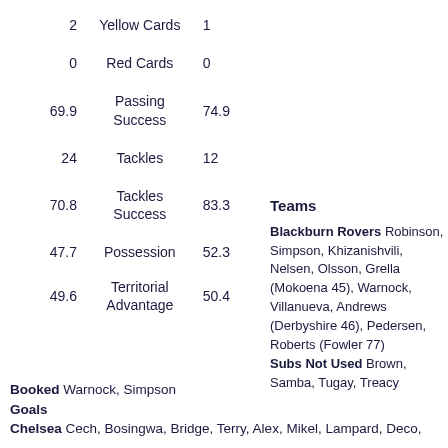| Left | Stat | Right |
| --- | --- | --- |
| 2 | Yellow Cards | 1 |
| 0 | Red Cards | 0 |
| 69.9 | Passing Success | 74.9 |
| 24 | Tackles | 12 |
| 70.8 | Tackles Success | 83.3 |
| 47.7 | Possession | 52.3 |
| 49.6 | Territorial Advantage | 50.4 |
Teams
Blackburn Rovers  Robinson, Simpson, Khizanishvili, Nelsen, Olsson, Grella (Mokoena 45), Warnock, Villanueva, Andrews (Derbyshire 46), Pedersen, Roberts (Fowler 77)
Subs Not Used  Brown, Samba, Tugay, Treacy
Booked  Warnock, Simpson
Goals
Chelsea  Cech, Bosingwa, Bridge, Terry, Alex, Mikel, Lampard, Deco,